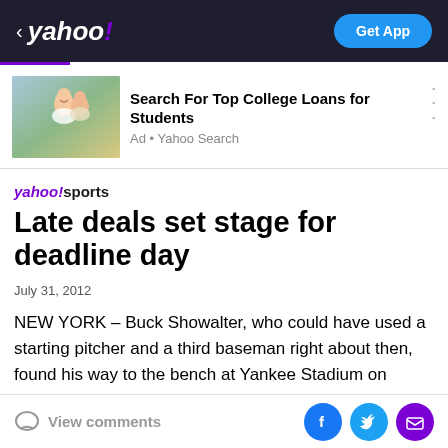< yahoo! Get App
[Figure (screenshot): Yahoo mobile app header bar with back arrow, Yahoo! logo in white on dark background, and blue Get App button]
Search For Top College Loans for Students
Ad • Yahoo Search
Late deals set stage for deadline day
July 31, 2012
NEW YORK – Buck Showalter, who could have used a starting pitcher and a third baseman right about then, found his way to the bench at Yankee Stadium on Monday night, not 24 hours until the non-waiver trading
View comments